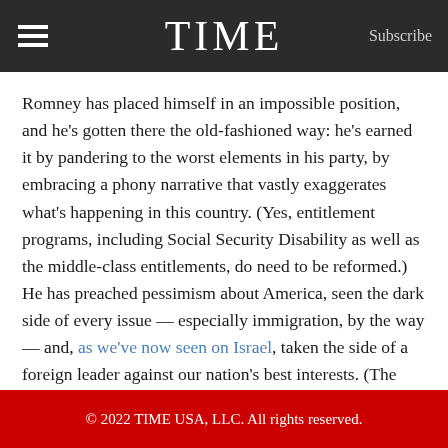TIME | Subscribe
Romney has placed himself in an impossible position, and he’s gotten there the old-fashioned way: he’s earned it by pandering to the worst elements in his party, by embracing a phony narrative that vastly exaggerates what’s happening in this country. (Yes, entitlement programs, including Social Security Disability as well as the middle-class entitlements, do need to be reformed.) He has preached pessimism about America, seen the dark side of every issue — especially immigration, by the way — and, as we’ve now seen on Israel, taken the side of a foreign leader against our nation’s best interests. (The very Netanyahu notion that a two-state solution is a bad idea and the best way to deal with it is to pay it lip service and kick the can down the road.) All this has rendered his campaign a parachute jump into quicksand, and he is sinking fast.
© 2022 TIME USA, LLC. All rights reserved.